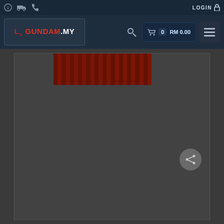Top navigation bar with icons and LOGIN
[Figure (screenshot): Gundam.my e-commerce website header with logo, search, cart (RM 0.00), and menu button on dark navy background]
[Figure (screenshot): Dark gray content area with red striped banner image at top center and a share/forward button at bottom right]